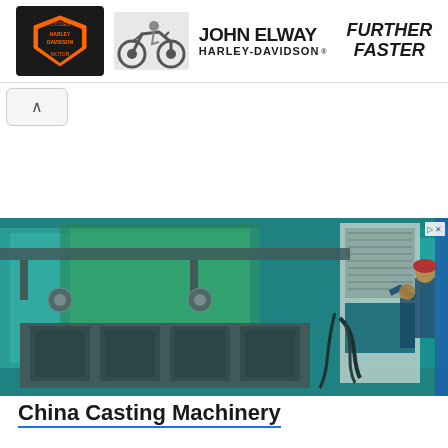[Figure (photo): Harley-Davidson advertisement banner for John Elway Harley-Davidson with text FURTHER FASTER]
[Figure (photo): Industrial casting machinery in a factory with teal/cyan lighting, showing large mold equipment and workers in the background]
China Casting Machinery